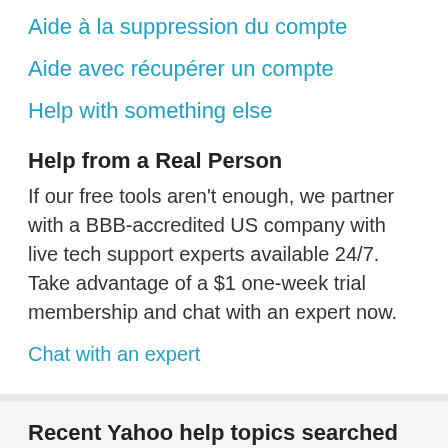Aide à la suppression du compte
Aide avec récupérer un compte
Help with something else
Help from a Real Person
If our free tools aren't enough, we partner with a BBB-accredited US company with live tech support experts available 24/7. Take advantage of a $1 one-week trial membership and chat with an expert now.
Chat with an expert
Recent Yahoo help topics searched
"Como puedo cancelar una suscripci*n con ustedes?"
"I need access to my yahoo.com email address polic